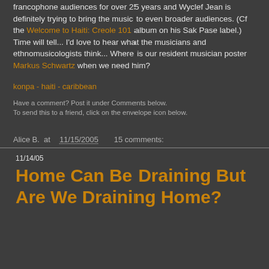francophone audiences for over 25 years and Wyclef Jean is definitely trying to bring the music to even broader audiences. (Cf the Welcome to Haiti: Creole 101 album on his Sak Pase label.) Time will tell... I'd love to hear what the musicians and ethnomusicologists think... Where is our resident musician poster Markus Schwartz when we need him?
konpa - haiti - caribbean
Have a comment? Post it under Comments below.
To send this to a friend, click on the envelope icon below.
Alice B. at 11/15/2005   15 comments:
11/14/05
Home Can Be Draining But Are We Draining Home?